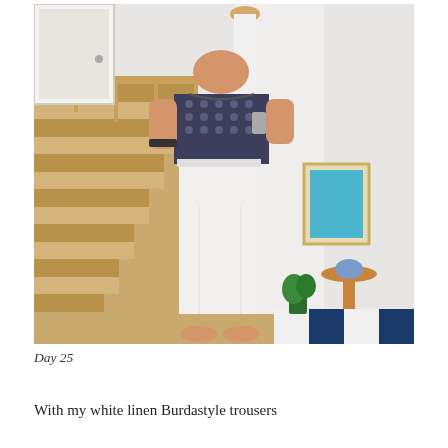[Figure (photo): A person standing on stairs holding a phone taking a mirror selfie. They are wearing a navy and white patterned top and white wide-leg linen trousers, barefoot. The staircase has a wooden banister and tan carpet. In the background is a white wall with a framed artwork and a small round table with decorative items.]
Day 25
With my white linen Burdastyle trousers